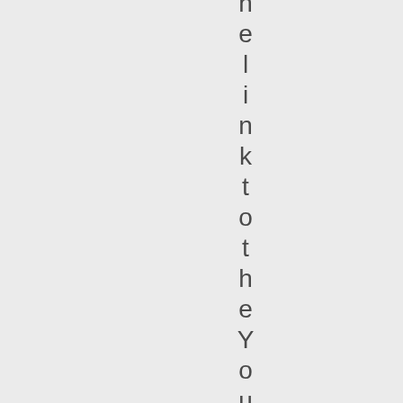h e l i n k t o t h e Y o u T u b e